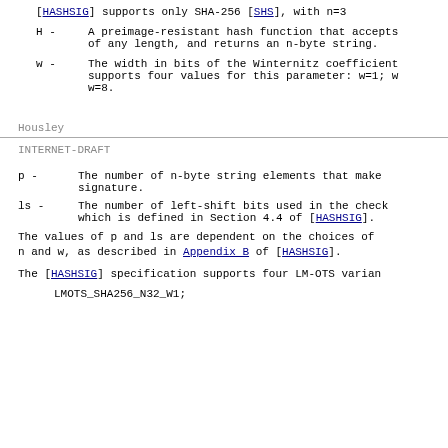[HASHSIG] supports only SHA-256 [SHS], with n=3
H - A preimage-resistant hash function that accepts of any length, and returns an n-byte string.
w - The width in bits of the Winternitz coefficient supports four values for this parameter: w=1; w w=8.
Housley
INTERNET-DRAFT
p - The number of n-byte string elements that make signature.
ls - The number of left-shift bits used in the check which is defined in Section 4.4 of [HASHSIG].
The values of p and ls are dependent on the choices of n and w, as described in Appendix B of [HASHSIG].
The [HASHSIG] specification supports four LM-OTS varian
LMOTS SHA256 N32 W1;